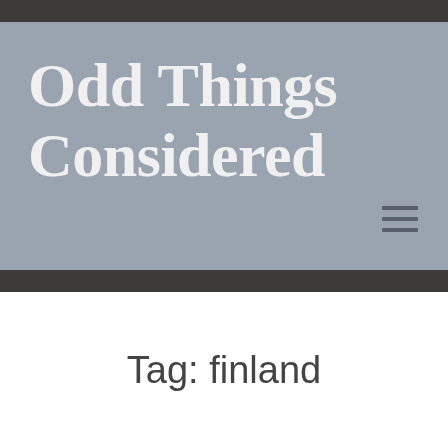Odd Things Considered
Tag: finland